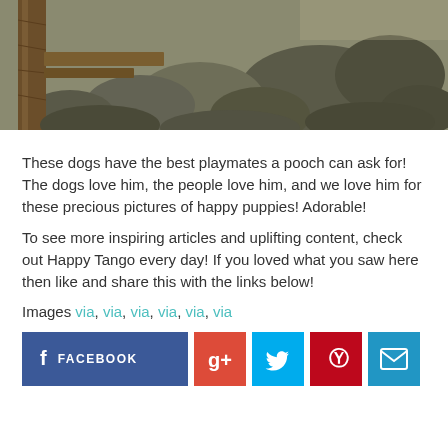[Figure (photo): Photo of rocks and a wooden post/pier, outdoor scene with sunlight]
These dogs have the best playmates a pooch can ask for! The dogs love him, the people love him, and we love him for these precious pictures of happy puppies! Adorable!
To see more inspiring articles and uplifting content, check out Happy Tango every day! If you loved what you saw here then like and share this with the links below!
Images via, via, via, via, via, via
[Figure (other): Social media sharing buttons: Facebook, Google+, Twitter, Pinterest, Email]